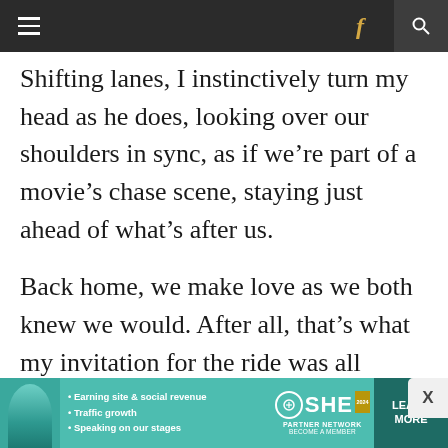Navigation bar with menu, Facebook, and search icons
Shifting lanes, I instinctively turn my head as he does, looking over our shoulders in sync, as if we’re part of a movie’s chase scene, staying just ahead of what’s after us.
Back home, we make love as we both knew we would. After all, that’s what my invitation for the ride was all about. Lately, we’ve been having more sex than ever. The sex has always been good, but something has changed and I think it’s me.
[Figure (advertisement): SHE Partner Network advertisement banner with a woman photo, bullet points about earning site & social revenue, traffic growth, speaking on stages, SHE logo, and Learn More button]